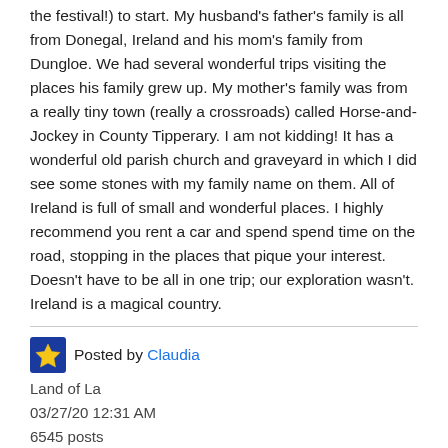the festival!) to start. My husband's father's family is all from Donegal, Ireland and his mom's family from Dungloe. We had several wonderful trips visiting the places his family grew up. My mother's family was from a really tiny town (really a crossroads) called Horse-and-Jockey in County Tipperary. I am not kidding! It has a wonderful old parish church and graveyard in which I did see some stones with my family name on them. All of Ireland is full of small and wonderful places. I highly recommend you rent a car and spend spend time on the road, stopping in the places that pique your interest. Doesn't have to be all in one trip; our exploration wasn't. Ireland is a magical country.
Posted by Claudia
Land of La
03/27/20 12:31 AM
6545 posts
Dingle, Sneem, Rosses Point, Aughrim, Adare, Cobh, Carlingford.